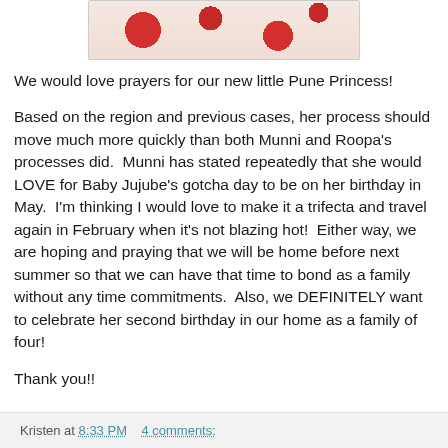[Figure (photo): Partial photo of a baby/child in a white dress with red strawberry print, visible at the top of the page]
We would love prayers for our new little Pune Princess!
Based on the region and previous cases, her process should move much more quickly than both Munni and Roopa's processes did.  Munni has stated repeatedly that she would LOVE for Baby Jujube's gotcha day to be on her birthday in May.  I'm thinking I would love to make it a trifecta and travel again in February when it's not blazing hot!  Either way, we are hoping and praying that we will be home before next summer so that we can have that time to bond as a family without any time commitments.  Also, we DEFINITELY want to celebrate her second birthday in our home as a family of four!
Thank you!!
Kristen at 8:33 PM    4 comments: